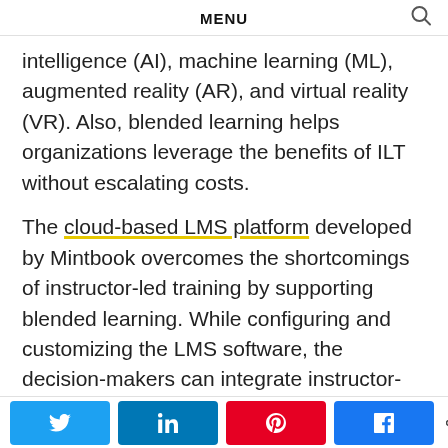MENU
intelligence (AI), machine learning (ML), augmented reality (AR), and virtual reality (VR). Also, blended learning helps organizations leverage the benefits of ILT without escalating costs.
The cloud-based LMS platform developed by Mintbook overcomes the shortcomings of instructor-led training by supporting blended learning. While configuring and customizing the LMS software, the decision-makers can integrate instructor-led training and self-paced learning approaches seamlessly. Also, they can leverage the robust features provided by the LMS solution to...